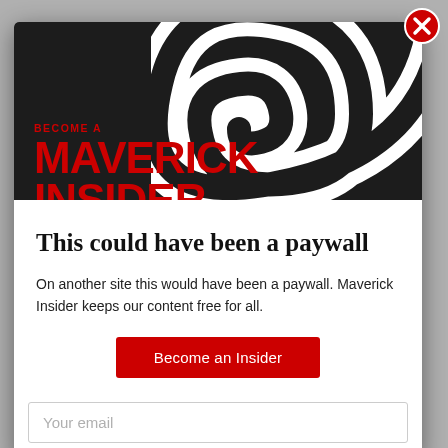DAILY MAVERICK
[Figure (logo): Maverick Insider branding with large red MAVERICK INSIDER text and decorative swirl graphic on dark background]
This could have been a paywall
On another site this would have been a paywall. Maverick Insider keeps our content free for all.
Become an Insider
Your email